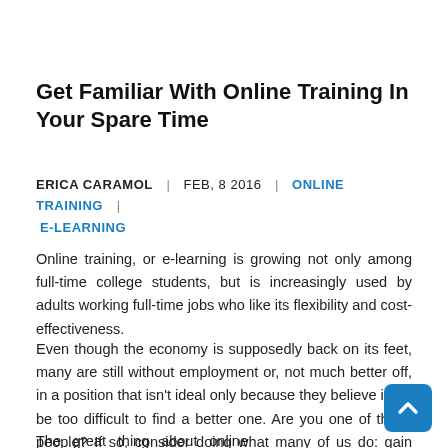Get Familiar With Online Training In Your Spare Time
ERICA CARAMOL  |  FEB, 8 2016  |  ONLINE TRAINING  |  E-LEARNING
Online training, or e-learning is growing not only among full-time college students, but is increasingly used by adults working full-time jobs who like its flexibility and cost-effectiveness.
Even though the economy is supposedly back on its feet, many are still without employment or, not much better off, in a position that isn't ideal only because they believe it will be too difficult to find a better one. Are you one of these people? If so, consider doing what many of us do: gain new skills via online learning.
The great thing about online learning is that you can fit it into